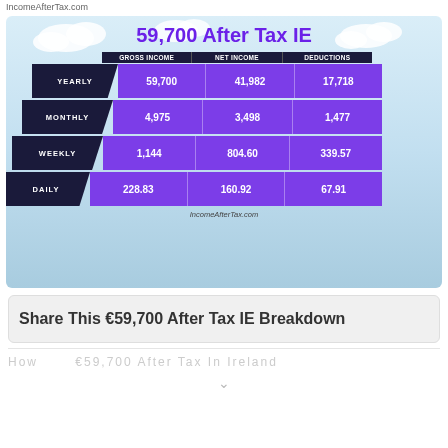IncomeAfterTax.com
[Figure (infographic): Pyramid-style infographic showing income breakdown for €59,700 gross salary in Ireland. Rows: Yearly (Gross 59,700 / Net 41,982 / Deductions 17,718), Monthly (4,975 / 3,498 / 1,477), Weekly (1,144 / 804.60 / 339.57), Daily (228.83 / 160.92 / 67.91). Watermark: IncomeAfterTax.com]
Share This €59,700 After Tax IE Breakdown
How €59,700 After Tax In Ireland